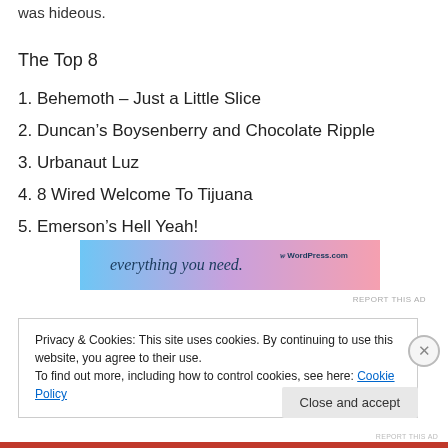was hideous.
The Top 8
1. Behemoth – Just a Little Slice
2. Duncan's Boysenberry and Chocolate Ripple
3. Urbanaut Luz
4. 8 Wired Welcome To Tijuana
5. Emerson's Hell Yeah!
[Figure (other): WordPress.com advertisement banner: 'everything you need.' with WordPress.com branding and gradient background]
REPORT THIS AD
Privacy & Cookies: This site uses cookies. By continuing to use this website, you agree to their use.
To find out more, including how to control cookies, see here: Cookie Policy
Close and accept
REPORT THIS AD